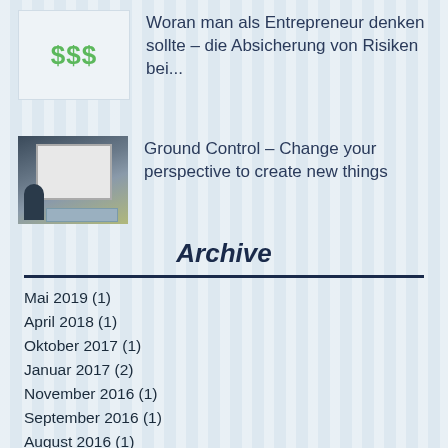[Figure (illustration): Green dollar signs '$$$' icon on light background representing finance/entrepreneur topic]
Woran man als Entrepreneur denken sollte – die Absicherung von Risiken bei...
[Figure (photo): Photo of a person presenting at a projector screen in a conference room]
Ground Control – Change your perspective to create new things
Archive
Mai 2019 (1)
April 2018 (1)
Oktober 2017 (1)
Januar 2017 (2)
November 2016 (1)
September 2016 (1)
August 2016 (1)